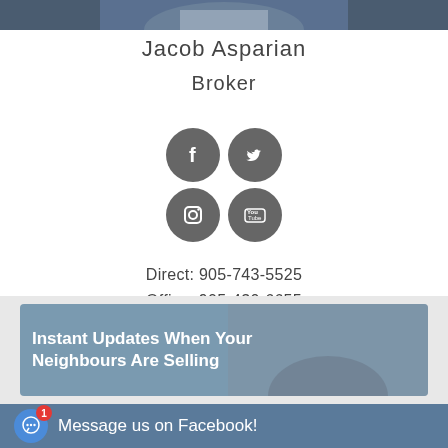[Figure (photo): Partial photo of a man in a blue suit at top of page]
Jacob Asparian
Broker
[Figure (infographic): Social media icons: Facebook, Twitter, Instagram, YouTube - four grey circular icons arranged in a 2x2 grid]
Direct: 905-743-5525
Office: 905-430-6655
Email: jacob@soldbyjacob.com
[Figure (infographic): Promotional banner with text 'Instant Updates When Your Neighbours Are Selling' with a background photo]
Message us on Facebook!